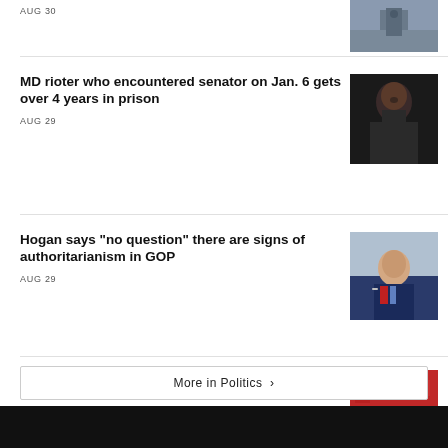AUG 30
[Figure (photo): Exterior building photo, partial view at top of page]
MD rioter who encountered senator on Jan. 6 gets over 4 years in prison
AUG 29
[Figure (photo): Man with bald head and beard, dark clothing, screenshot from video call]
Hogan says "no question" there are signs of authoritarianism in GOP
AUG 29
[Figure (photo): Older man in suit with glasses speaking, TV interview setting]
Biden rallies in Maryland for Democrats, slams 'semi-fascism' in GOP
AUG 26
[Figure (photo): Rally scene with American flags and blue stage set, crowd visible]
More in Politics ›